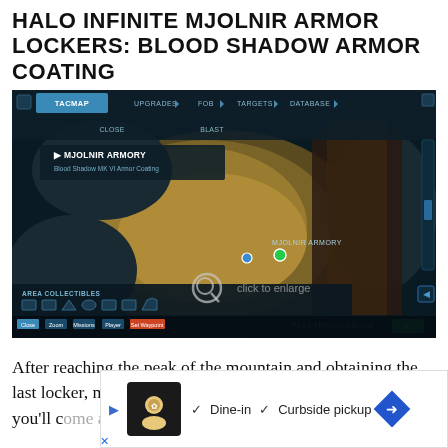HALO INFINITE MJOLNIR ARMOR LOCKERS: BLOOD SHADOW ARMOR COATING
[Figure (screenshot): In-game screenshot of Halo Infinite Tacmap showing the Mjolnir Armory location for Blood Shadow MK VI Armor Coating, with area collectibles and fast travel options visible]
After reaching the peak of the mountain and obtaining the last locker, move down and to the west. Midway down you'll c[ome across a path that leads north] northern[...]